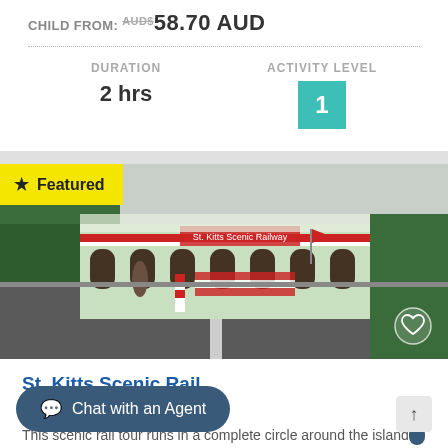CHILD FROM: AUD$58.70 AUD
DURATION
2 hrs
ACTIVITY LEVEL
1
[Figure (photo): Photo of St. Kitts Scenic Railway train station with colorful train cars, road barrier, lush green trees, and overcast sky. A yellow 'Featured' badge overlays the top-left corner. A heart icon is in the bottom-right.]
★ Featured
St. Kitts Scenic Rail
Basseterre, St. Kitts
This scenic rail tour runs in a complete circle around the island opportunity to see the entire country by operational, one-of-a-kind narrow gauge railette provides a fascinating way to see the island.
Chat with an Agent